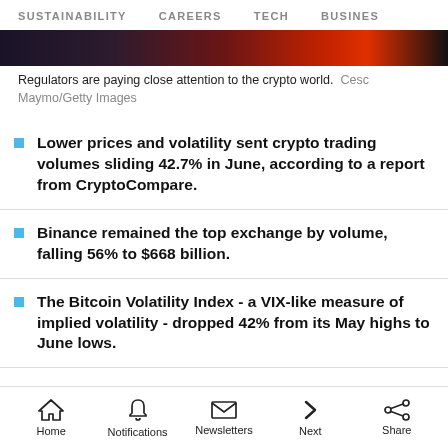SUSTAINABILITY   CAREERS   TECH   BUSINESS
[Figure (photo): Dark photo strip with red and orange tones, partial image of crypto/finance scene]
Regulators are paying close attention to the crypto world. Cesc Maymo/Getty Images
Lower prices and volatility sent crypto trading volumes sliding 42.7% in June, according to a report from CryptoCompare.
Binance remained the top exchange by volume, falling 56% to $668 billion.
The Bitcoin Volatility Index - a VIX-like measure of implied volatility - dropped 42% from its May highs to June lows.
Home   Notifications   Newsletters   Next   Share